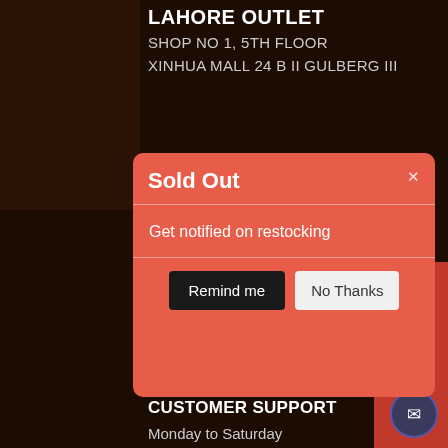LAHORE OUTLET
SHOP NO 1, 5TH FLOOR
XINHUA MALL 24 B II GULBERG III
Sold Out
Get notified on restocking
Remind me
No Thanks
MCB bank
Sargodha
Click / Tap here for Directions
+92482146230
CUSTOMER SUPPORT
Monday to Saturday